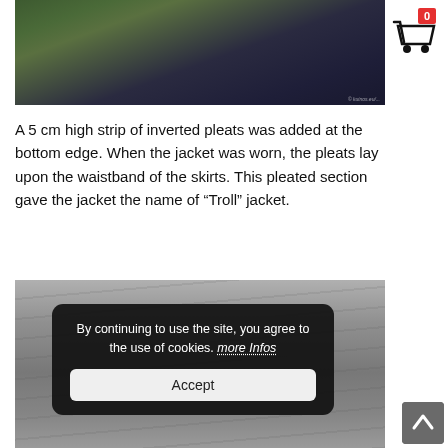[Figure (photo): Top portion of a photograph showing two women in traditional folk costume with green jackets and dark skirts, with a stone wall in the background. Watermark visible in lower right.]
A 5 cm high strip of inverted pleats was added at the bottom edge. When the jacket was worn, the pleats lay upon the waistband of the skirts. This pleated section gave the jacket the name of “Troll” jacket.
[Figure (photo): Black and white photograph showing the mid-section of a person wearing a pleated folk costume skirt and jacket, partially obscured by a cookie consent overlay.]
By continuing to use the site, you agree to the use of cookies. more Infos
Accept